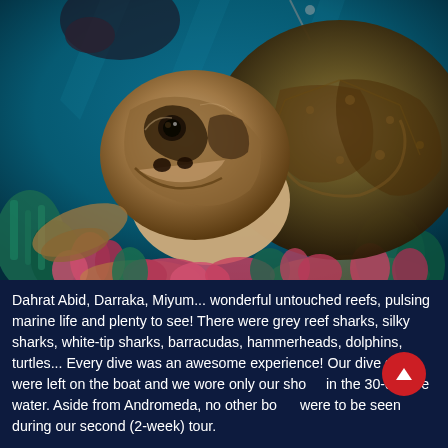[Figure (photo): Underwater close-up photograph of a sea turtle (hawksbill turtle) at a coral reef. A diver's hands are visible in the background. The turtle's head fills much of the frame, with colorful coral in the foreground. The water is a deep blue-teal color.]
Dahrat Abid, Darraka, Miyum... wonderful untouched reefs, pulsing marine life and plenty to see! There were grey reef sharks, silky sharks, white-tip sharks, barracudas, hammerheads, dolphins, turtles... Every dive was an awesome experience! Our dive suits were left on the boat and we wore only our shorts in the 30-degree water. Aside from Andromeda, no other boats were to be seen during our second (2-week) tour.